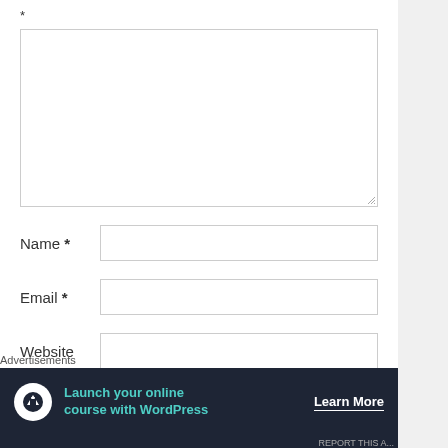*
[Figure (screenshot): Large empty textarea form field with resize handle at bottom right]
Name *
Email *
Website
Advertisements
[Figure (infographic): Advertisement banner with dark background showing 'Launch your online course with WordPress' with a Learn More button and tree/upload icon]
REPORT THIS A...